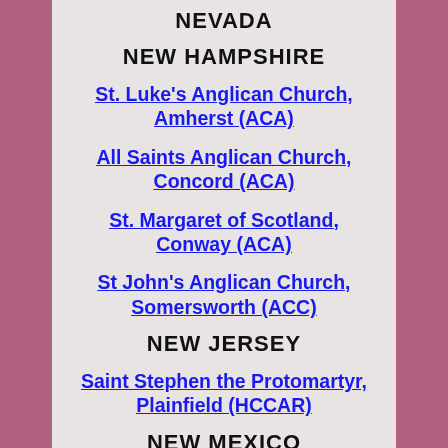NEVADA
NEW HAMPSHIRE
St. Luke's Anglican Church, Amherst (ACA)
All Saints Anglican Church, Concord (ACA)
St. Margaret of Scotland, Conway (ACA)
St John's Anglican Church, Somersworth (ACC)
NEW JERSEY
Saint Stephen the Protomartyr, Plainfield (HCCAR)
NEW MEXICO